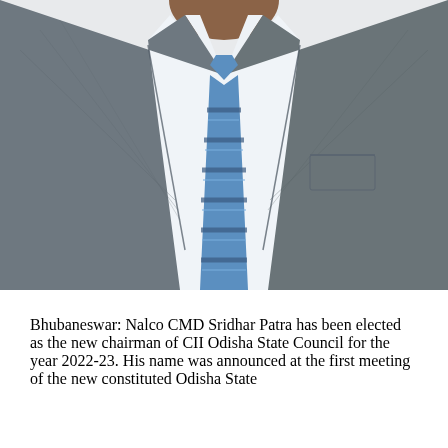[Figure (photo): Headless torso of a man wearing a grey suit jacket, white dress shirt, and blue striped tie, photographed from the neck/chest down to the waist against a white background.]
Bhubaneswar: Nalco CMD Sridhar Patra has been elected as the new chairman of CII Odisha State Council for the year 2022-23. His name was announced at the first meeting of the new constituted Odisha State